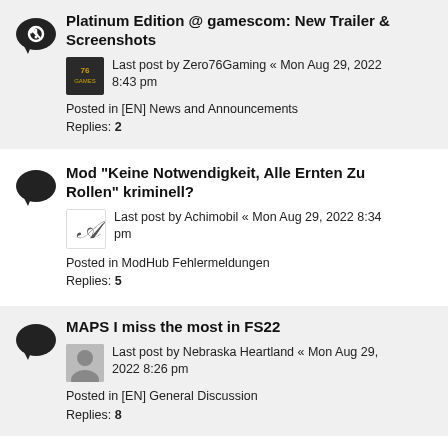Platinum Edition @ gamescom: New Trailer & Screenshots
Last post by Zero76Gaming « Mon Aug 29, 2022 8:43 pm
Posted in [EN] News and Announcements
Replies: 2
Mod "Keine Notwendigkeit, Alle Ernten Zu Rollen" kriminell?
Last post by Achimobil « Mon Aug 29, 2022 8:34 pm
Posted in ModHub Fehlermeldungen
Replies: 5
MAPS I miss the most in FS22
Last post by Nebraska Heartland « Mon Aug 29, 2022 8:26 pm
Posted in [EN] General Discussion
Replies: 8
[LS22] - Neu - Minibrunn WIP und TopAce888-